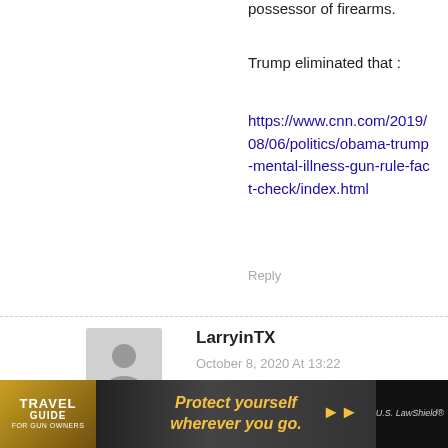possessor of firearms.
Trump eliminated that :
https://www.cnn.com/2019/08/06/politics/obama-trump-mental-illness-gun-rule-fact-check/index.html
Reply
LarryinTX
October 8, 2020 At 13:22
Once more, with feeling!
TRUMP 2020!
James Campbell
[Figure (infographic): Travel Guide for Gun Owners ad banner with text 'Protect yourself wherever you go.' and US LawShield branding]